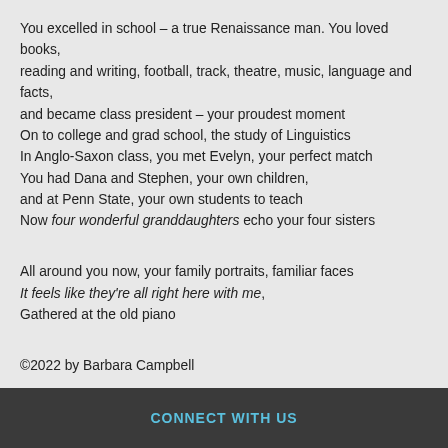You excelled in school – a true Renaissance man. You loved books,
reading and writing, football, track, theatre, music, language and facts,
and became class president – your proudest moment
On to college and grad school, the study of Linguistics
In Anglo-Saxon class, you met Evelyn, your perfect match
You had Dana and Stephen, your own children,
and at Penn State, your own students to teach
Now four wonderful granddaughters echo your four sisters

All around you now, your family portraits, familiar faces
It feels like they're all right here with me,
Gathered at the old piano

©2022 by Barbara Campbell
CONNECT WITH US